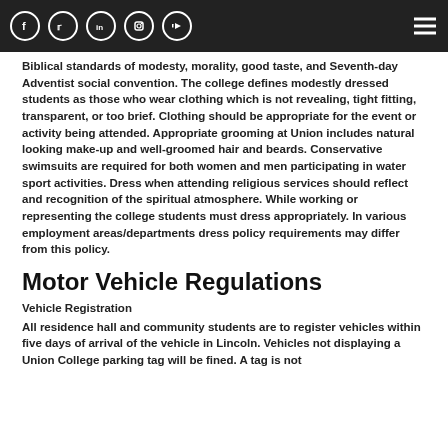[Social media icons: Facebook, Twitter, LinkedIn, Instagram, YouTube] [Hamburger menu]
Biblical standards of modesty, morality, good taste, and Seventh-day Adventist social convention. The college defines modestly dressed students as those who wear clothing which is not revealing, tight fitting, transparent, or too brief. Clothing should be appropriate for the event or activity being attended. Appropriate grooming at Union includes natural looking make-up and well-groomed hair and beards. Conservative swimsuits are required for both women and men participating in water sport activities. Dress when attending religious services should reflect and recognition of the spiritual atmosphere. While working or representing the college students must dress appropriately. In various employment areas/departments dress policy requirements may differ from this policy.
Motor Vehicle Regulations
Vehicle Registration
All residence hall and community students are to register vehicles within five days of arrival of the vehicle in Lincoln. Vehicles not displaying a Union College parking tag will be fined. A tag is not